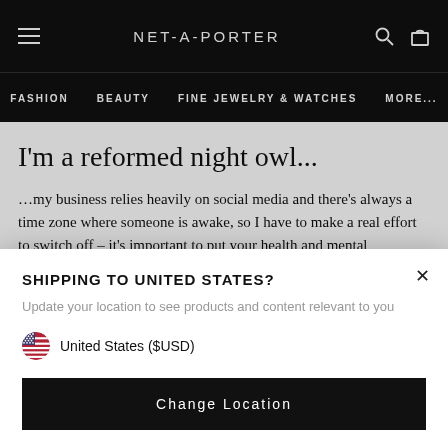NET-A-PORTER | FASHION | BEAUTY | FINE JEWELRY & WATCHES | MORE...
I'm a reformed night owl...
…my business relies heavily on social media and there's always a time zone where someone is awake, so I have to make a real effort to switch off – it's important to put your health and mental wellbeing first. Reading a book really helps me wind
SHIPPING TO UNITED STATES?
Update your location to see products and content relevant to you
United States ($USD)
Change Location